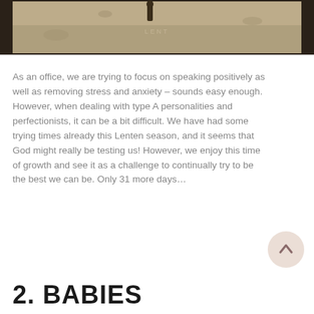[Figure (photo): Sepia-toned vintage photograph with the word LENT printed in the center, showing a dark silhouetted figure against a textured aged background]
As an office, we are trying to focus on speaking positively as well as removing stress and anxiety – sounds easy enough. However, when dealing with type A personalities and perfectionists, it can be a bit difficult. We have had some trying times already this Lenten season, and it seems that God might really be testing us! However, we enjoy this time of growth and see it as a challenge to continually try to be the best we can be. Only 31 more days…
[Figure (other): Circular scroll-to-top button with an upward arrow, light pink/beige background]
2. BABIES